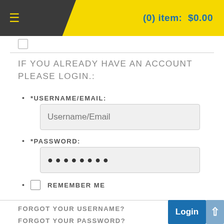(0) item:  $0.00
IF YOU ALREADY HAVE AN ACCOUNT PLEASE LOGIN.:
*USERNAME/EMAIL:
*PASSWORD:
REMEMBER ME
FORGOT YOUR USERNAME?
FORGOT YOUR PASSWORD?